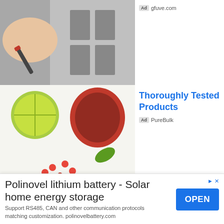[Figure (photo): Hands using a tool on electrical equipment, top ad image (partially visible, cropped at top)]
Ad gfuve.com
[Figure (photo): Fruits, supplements and spices on a white background - pomegranate, lime, pills, wooden spoon]
Thoroughly Tested Products
Ad PureBulk
Arturo H.Supremo says:
January 16, 2017 at 10:01 PM
This is true. Your savings will be, P=I.I.Resistance.
Polinovel lithium battery - Solar home energy storage
Support RS485, CAN and other communication protocols matching customization. polinovelbattery.com
OPEN